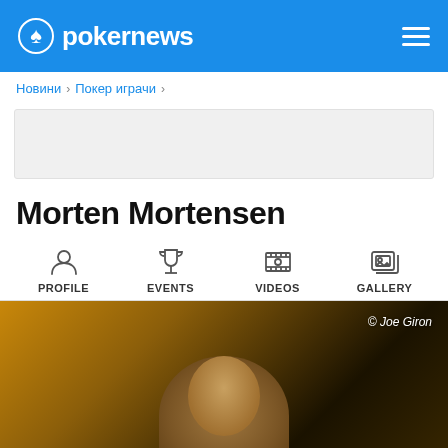pokernews
Новини › Покер играчи ›
Morten Mortensen
PROFILE  EVENTS  VIDEOS  GALLERY
[Figure (photo): Photo of Morten Mortensen, a poker player, photographed by Joe Giron. Shows a man with short brown hair against a warm bokeh background.]